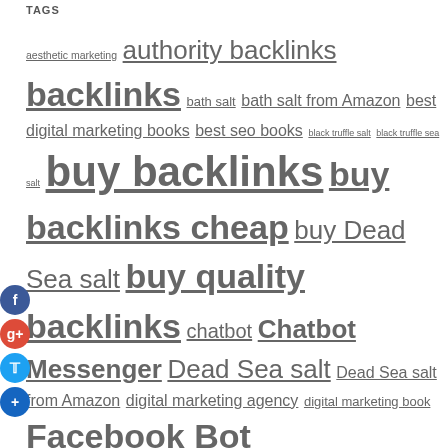TAGS
aesthetic marketing authority backlinks backlinks bath salt bath salt from Amazon best digital marketing books best seo books black truffle salt black truffle sea salt buy backlinks buy backlinks cheap buy Dead Sea salt buy quality backlinks chatbot Chatbot Messenger Dead Sea salt Dead Sea salt from Amazon digital marketing agency digital marketing book Facebook Bot Facebook Chatbot Facebook Messenger Bot Facebook Messenger Chatbot health himalayan pink salt Himalayan salt Kitchen marketing aesthetics medical spa marketing medical spa marketing companies medical spa seo med spa marketing Messenger Bot pink Himalayan salt Pink salt pool enclosures pure Dead Sea salt Repair seo book seo books service services truffle salt truffle sea salt web design